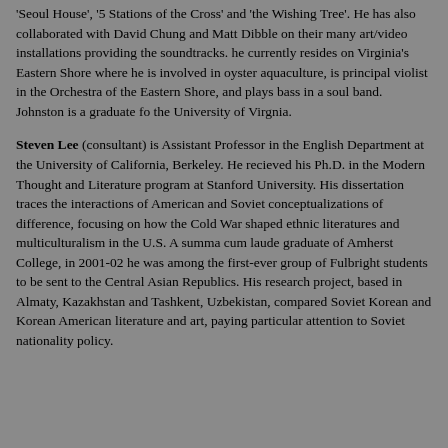'Seoul House', '5 Stations of the Cross' and 'the Wishing Tree'. He has also collaborated with David Chung and Matt Dibble on their many art/video installations providing the soundtracks. he currently resides on Virginia's Eastern Shore where he is involved in oyster aquaculture, is principal violist in the Orchestra of the Eastern Shore, and plays bass in a soul band. Johnston is a graduate fo the University of Virgnia.
Steven Lee (consultant) is Assistant Professor in the English Department at the University of California, Berkeley. He recieved his Ph.D. in the Modern Thought and Literature program at Stanford University. His dissertation traces the interactions of American and Soviet conceptualizations of difference, focusing on how the Cold War shaped ethnic literatures and multiculturalism in the U.S. A summa cum laude graduate of Amherst College, in 2001-02 he was among the first-ever group of Fulbright students to be sent to the Central Asian Republics. His research project, based in Almaty, Kazakhstan and Tashkent, Uzbekistan, compared Soviet Korean and Korean American literature and art, paying particular attention to Soviet nationality policy.